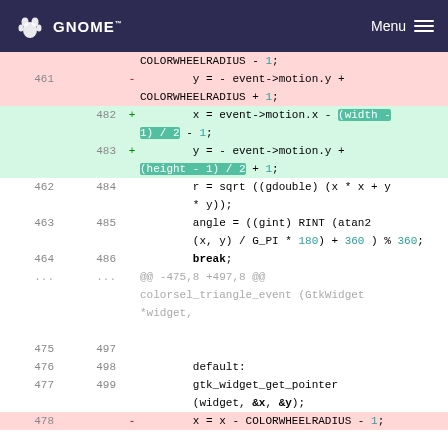GNOME   Menu
Code diff showing changes to color wheel event handler. Lines 461-477/478-499 of a GTK color selector source file.